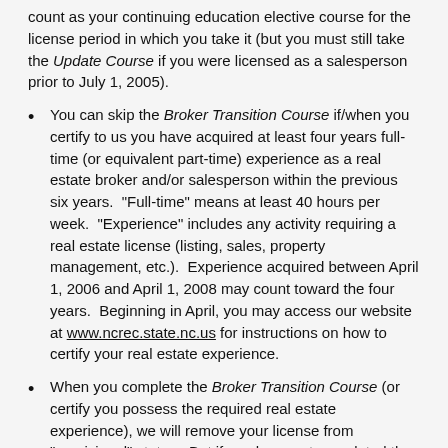count as your continuing education elective course for the license period in which you take it (but you must still take the Update Course if you were licensed as a salesperson prior to July 1, 2005).
You can skip the Broker Transition Course if/when you certify to us you have acquired at least four years full-time (or equivalent part-time) experience as a real estate broker and/or salesperson within the previous six years. "Full-time" means at least 40 hours per week. "Experience" includes any activity requiring a real estate license (listing, sales, property management, etc.). Experience acquired between April 1, 2006 and April 1, 2008 may count toward the four years. Beginning in April, you may access our website at www.ncrec.state.nc.us for instructions on how to certify your real estate experience.
When you complete the Broker Transition Course (or certify you possess the required real estate experience), we will remove your license from "provisional" status. But if you have not completed the course (or certified you possess the required real estate experience) by April 1, 2008, your "provisional" broker license will be placed on inactive status and you must then complete 90 classroom hours of